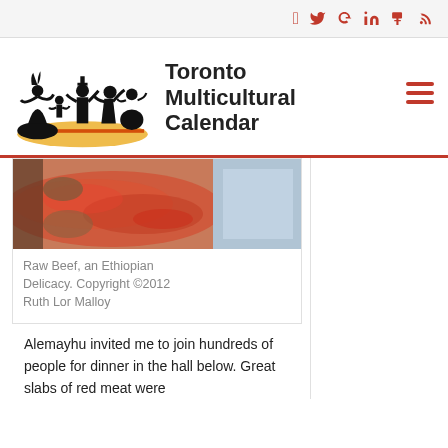Social icons: Facebook, Twitter, Google+, LinkedIn, Tumblr, RSS
[Figure (logo): Toronto Multicultural Calendar logo with silhouettes of dancers]
Toronto Multicultural Calendar
[Figure (photo): Photo of raw beef, an Ethiopian delicacy]
Raw Beef, an Ethiopian Delicacy. Copyright ©2012 Ruth Lor Malloy
Alemayhu invited me to join hundreds of people for dinner in the hall below. Great slabs of red meat were